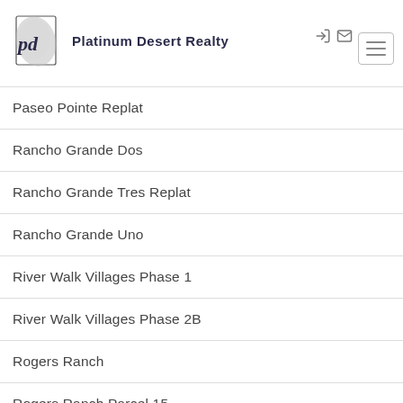Platinum Desert Realty
Paseo Pointe Replat
Rancho Grande Dos
Rancho Grande Tres Replat
Rancho Grande Uno
River Walk Villages Phase 1
River Walk Villages Phase 2B
Rogers Ranch
Rogers Ranch Parcel 15